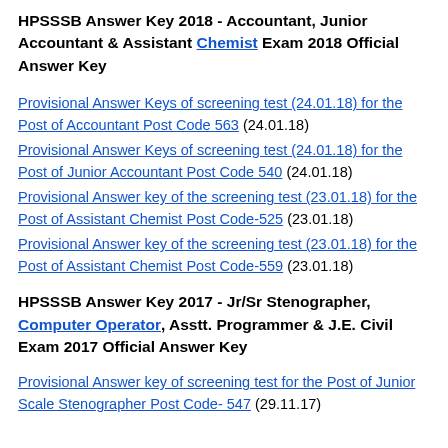HPSSSB Answer Key 2018 - Accountant, Junior Accountant & Assistant Chemist Exam 2018 Official Answer Key
Provisional Answer Keys of screening test (24.01.18) for the Post of Accountant Post Code 563 (24.01.18)
Provisional Answer Keys of screening test (24.01.18) for the Post of Junior Accountant Post Code 540 (24.01.18)
Provisional Answer key of the screening test (23.01.18) for the Post of Assistant Chemist Post Code-525 (23.01.18)
Provisional Answer key of the screening test (23.01.18) for the Post of Assistant Chemist Post Code-559 (23.01.18)
HPSSSB Answer Key 2017 - Jr/Sr Stenographer, Computer Operator, Asstt. Programmer & J.E. Civil Exam 2017 Official Answer Key
Provisional Answer key of screening test for the Post of Junior Scale Stenographer Post Code- 547 (29.11.17)